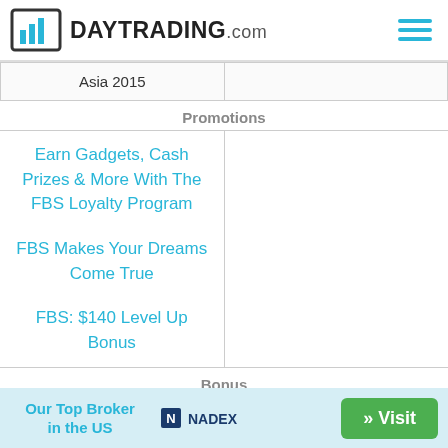DAYTRADING.com
| Asia 2015 |  |
| --- | --- |
Promotions
Earn Gadgets, Cash Prizes & More With The FBS Loyalty Program
FBS Makes Your Dreams Come True
FBS: $140 Level Up Bonus
Bonus
| $100 welcome bonus | $5,000 welcome bonus |
| --- | --- |
Our Top Broker in the US